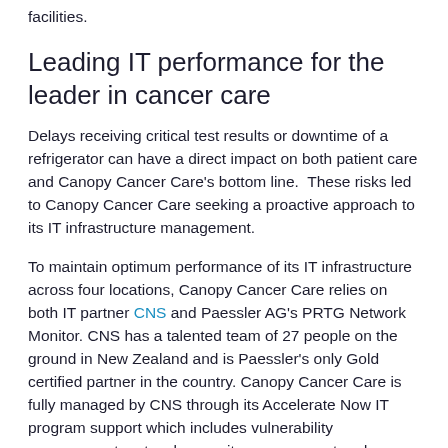facilities.
Leading IT performance for the leader in cancer care
Delays receiving critical test results or downtime of a refrigerator can have a direct impact on both patient care and Canopy Cancer Care's bottom line.  These risks led to Canopy Cancer Care seeking a proactive approach to its IT infrastructure management.
To maintain optimum performance of its IT infrastructure across four locations, Canopy Cancer Care relies on both IT partner CNS and Paessler AG's PRTG Network Monitor. CNS has a talented team of 27 people on the ground in New Zealand and is Paessler's only Gold certified partner in the country. Canopy Cancer Care is fully managed by CNS through its Accelerate Now IT program support which includes vulnerability management, network capacity management and forecasting, and full 24x7 end-user support. CNS exclusively uses Paessler AG's PRTG Network Monitor to monitor all network equipment, hardware and virtual machines for all of its clients and for